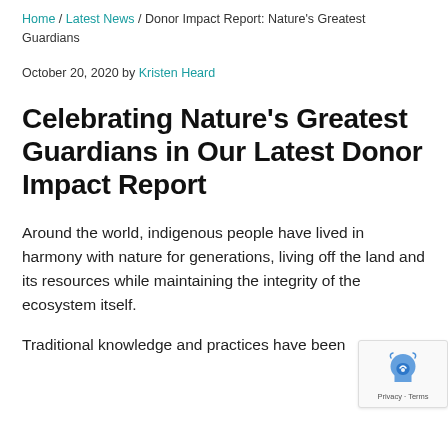Home / Latest News / Donor Impact Report: Nature's Greatest Guardians
October 20, 2020 by Kristen Heard
Celebrating Nature’s Greatest Guardians in Our Latest Donor Impact Report
Around the world, indigenous people have lived in harmony with nature for generations, living off the land and its resources while maintaining the integrity of the ecosystem itself.
Traditional knowledge and practices have been